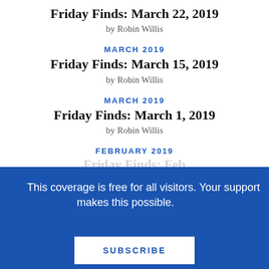Friday Finds: March 22, 2019
by Robin Willis
MARCH 2019
Friday Finds: March 15, 2019
by Robin Willis
MARCH 2019
Friday Finds: March 1, 2019
by Robin Willis
FEBRUARY 2019
This coverage is free for all visitors. Your support makes this possible.
SUBSCRIBE